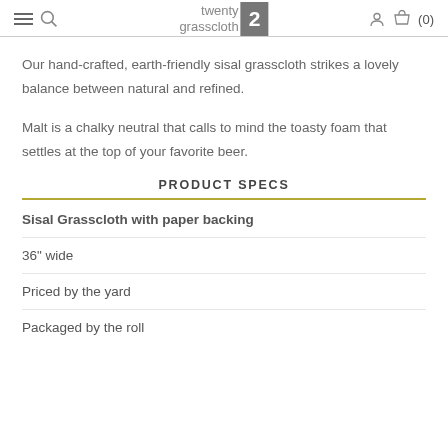twenty2 grasscloth — navigation header with logo and cart (0)
Our hand-crafted, earth-friendly sisal grasscloth strikes a lovely balance between natural and refined.
Malt is a chalky neutral that calls to mind the toasty foam that settles at the top of your favorite beer.
PRODUCT SPECS
Sisal Grasscloth with paper backing
36" wide
Priced by the yard
Packaged by the roll